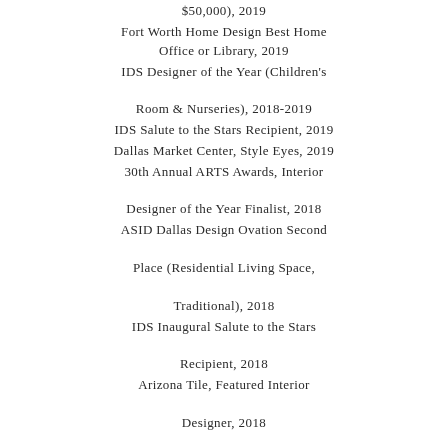$50,000), 2019
Fort Worth Home Design Best Home Office or Library, 2019
IDS Designer of the Year (Children's Room & Nurseries), 2018-2019
IDS Salute to the Stars Recipient, 2019
Dallas Market Center, Style Eyes, 2019
30th Annual ARTS Awards, Interior Designer of the Year Finalist, 2018
ASID Dallas Design Ovation Second Place (Residential Living Space, Traditional), 2018
IDS Inaugural Salute to the Stars Recipient, 2018
Arizona Tile, Featured Interior Designer, 2018